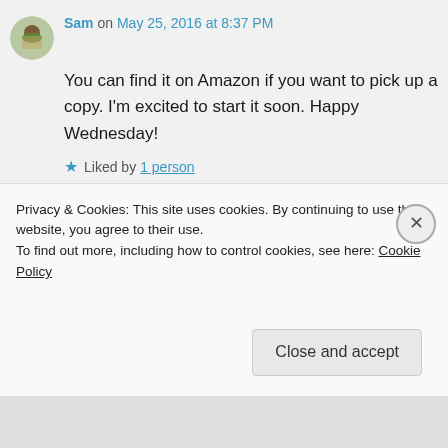Sam on May 25, 2016 at 8:37 PM
You can find it on Amazon if you want to pick up a copy. I'm excited to start it soon. Happy Wednesday!
Liked by 1 person
Reply
Kourtni @ Kourtni Reads on May 25,
Privacy & Cookies: This site uses cookies. By continuing to use this website, you agree to their use.
To find out more, including how to control cookies, see here: Cookie Policy
Close and accept